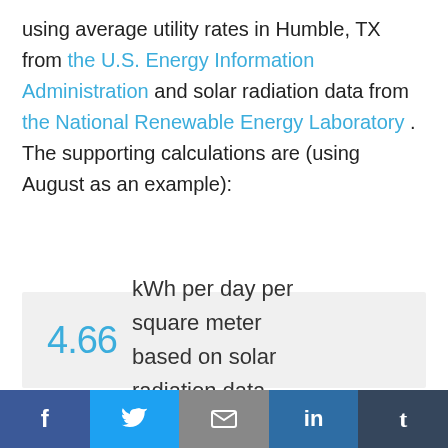using average utility rates in Humble, TX from the U.S. Energy Information Administration and solar radiation data from the National Renewable Energy Laboratory . The supporting calculations are (using August as an example):
4.66 kWh per day per square meter based on solar radiation data
f  [twitter]  [email]  in  t